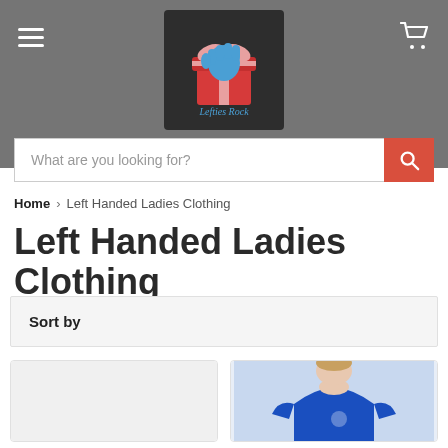[Figure (logo): Lefties Rock brand logo — a blue fist holding a gift box with a red ribbon, on a dark background with 'Lefties Rock' text in stylized font]
What are you looking for?
Home > Left Handed Ladies Clothing
Left Handed Ladies Clothing
Sort by
[Figure (photo): Product card placeholder — light gray background, clothing item not visible]
[Figure (photo): Product card showing a person wearing a royal blue t-shirt, visible from shoulders up]